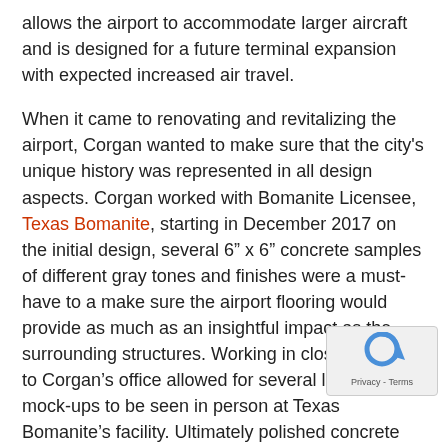allows the airport to accommodate larger aircraft and is designed for a future terminal expansion with expected increased air travel.
When it came to renovating and revitalizing the airport, Corgan wanted to make sure that the city's unique history was represented in all design aspects. Corgan worked with Bomanite Licensee, Texas Bomanite, starting in December 2017 on the initial design, several 6" x 6" concrete samples of different gray tones and finishes were a must-have to a make sure the airport flooring would provide as much as an insightful impact as the surrounding structures. Working in close proximity to Corgan's office allowed for several larger-scale mock-ups to be seen in person at Texas Bomanite's facility. Ultimately polished concrete was chosen for its long-term durability and low maintenance. Texas Bomanite contracted through the winning bid GC SpawGlass Contractors to provide 42,300 square feet of the Bomanite Modena SL polished concrete system; an installation that finalized in December 2020.
The final color of choice was Nickle Gray Bomanite Modena SL, used throughout the ticketing area, TSA Security Checkpoints as well as the upper floors for Boarding. Texas